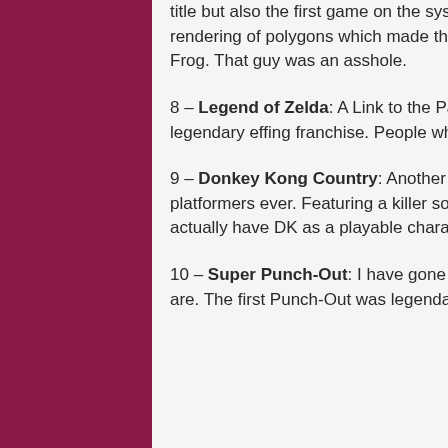title but also the first game on the system to use the Super FX chip that allowed for the rendering of polygons which made the games look 3D. Super awesome, minus Slippy the Frog. That guy was an asshole.
8 – Legend of Zelda: A Link to the Past: Easily the best game in the franchise and this is a legendary effing franchise. People who haven't played this have a real void in their lives.
9 – Donkey Kong Country: Another great Nintendo mainstay and one of the greatest platformers ever. Featuring a killer soundtrack and it being the only game in the series to actually have DK as a playable character, makes this another solid inclusion.
10 – Super Punch-Out: I have gone a few minutes without using the word super, so here we are. The first Punch-Out was legendary, and